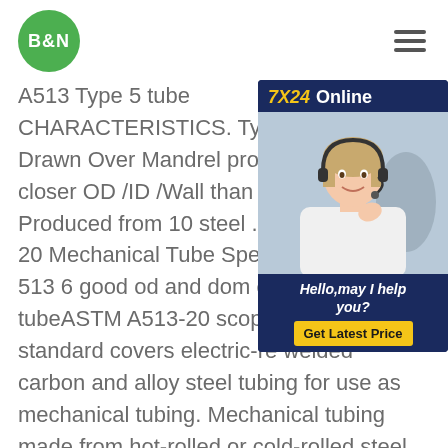[Figure (logo): B&N logo — green circle with white bold text 'B&N']
A513 Type 5 tube CHARACTERISTICS. Type 5 Tube is a Drawn Over Mandrel product which has closer OD /ID /Wall than ERW products. Produced from 10 steel . ASTM A513-20 Mechanical Tube Specification astm 513 6 good od and dom carbon steel tubeASTM A513-20 scope. The standard covers electric-re welded carbon and alloy steel tubing for use as mechanical tubing. Mechanical tubing made from hot-rolled or cold-rolled steel is covered under ASTM A513-20. It also covers square, round, rectangular, and special shape tubing. ASTM A513-88/ASME
[Figure (infographic): 7X24 Online chat support popup with a photo of a female customer service agent wearing a headset, a greeting 'Hello,may I help you?' and a 'Get Latest Price' button]